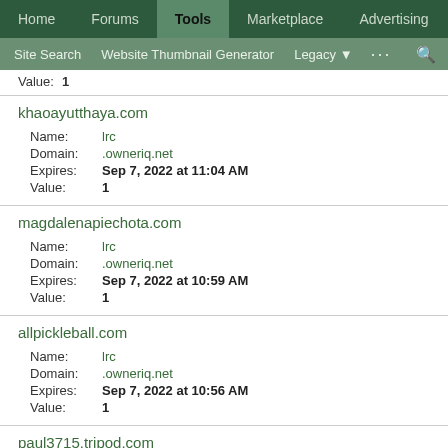Home | Forums | Tools | Marketplace | Advertising
Site Search | Website Thumbnail Generator | Legacy | ... | search
Value: 1
khaoayutthaya.com
Name: lrc
Domain: .owneriq.net
Expires: Sep 7, 2022 at 11:04 AM
Value: 1
magdalenapiechota.com
Name: lrc
Domain: .owneriq.net
Expires: Sep 7, 2022 at 10:59 AM
Value: 1
allpickleball.com
Name: lrc
Domain: .owneriq.net
Expires: Sep 7, 2022 at 10:56 AM
Value: 1
paul3715.tripod.com
Name: lrc